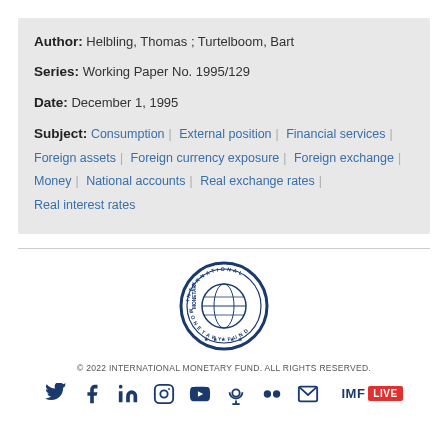Author: Helbling, Thomas ; Turtelboom, Bart
Series: Working Paper No. 1995/129
Date: December 1, 1995
Subject: Consumption | External position | Financial services | Foreign assets | Foreign currency exposure | Foreign exchange | Money | National accounts | Real exchange rates | Real interest rates
[Figure (logo): International Monetary Fund circular seal logo in blue]
© 2022 INTERNATIONAL MONETARY FUND. ALL RIGHTS RESERVED.
[Figure (infographic): Social media icons: Twitter, Facebook, LinkedIn, Instagram, YouTube, Podcast, Flickr, Email, and IMF LIVE badge]